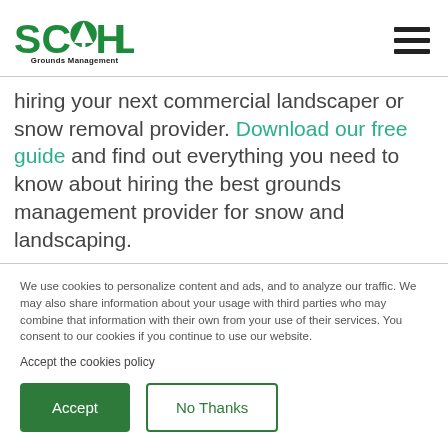[Figure (logo): Schill Grounds Management logo with green tree icon and text]
hiring your next commercial landscaper or snow removal provider. Download our free guide and find out everything you need to know about hiring the best grounds management provider for snow and landscaping.
We use cookies to personalize content and ads, and to analyze our traffic. We may also share information about your usage with third parties who may combine that information with their own from your use of their services. You consent to our cookies if you continue to use our website.
Accept the cookies policy